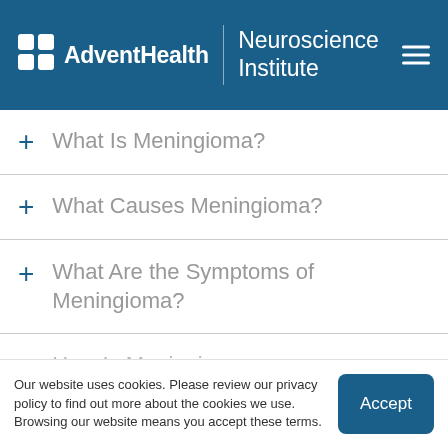AdventHealth | Neuroscience Institute
+ What Is Meningioma?
+ What Causes Meningioma?
+ What Are the Symptoms of Meningioma?
+ How Is Meningioma…
Our website uses cookies. Please review our privacy policy to find out more about the cookies we use. Browsing our website means you accept these terms.